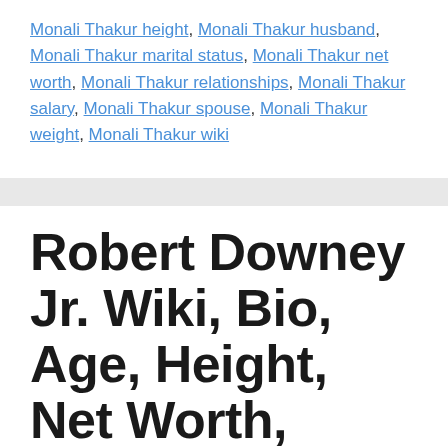Monali Thakur height, Monali Thakur husband, Monali Thakur marital status, Monali Thakur net worth, Monali Thakur relationships, Monali Thakur salary, Monali Thakur spouse, Monali Thakur weight, Monali Thakur wiki
Robert Downey Jr. Wiki, Bio, Age, Height, Net Worth, Facts
August 18, 2021 by topcelebinfo